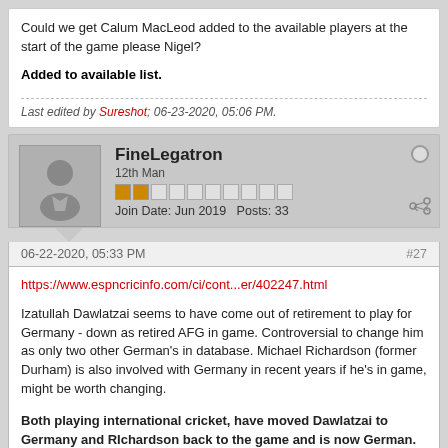Could we get Calum MacLeod added to the available players at the start of the game please Nigel?
Added to available list.
Last edited by Sureshot; 06-23-2020, 05:06 PM.
FineLegatron
12th Man
Join Date: Jun 2019  Posts: 33
06-22-2020, 05:33 PM  #27
https://www.espncricinfo.com/ci/cont...er/402247.html
Izatullah Dawlatzai seems to have come out of retirement to play for Germany - down as retired AFG in game. Controversial to change him as only two other German's in database. Michael Richardson (former Durham) is also involved with Germany in recent years if he's in game, might be worth changing.
Both playing international cricket, have moved Dawlatzai to Germany and RIchardson back to the game and is now German.